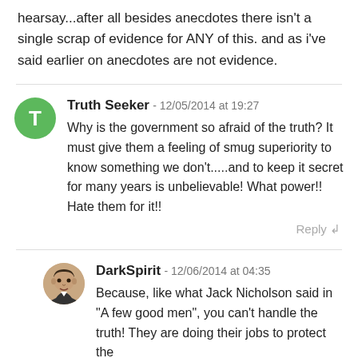hearsay...after all besides anecdotes there isn't a single scrap of evidence for ANY of this. and as i've said earlier on anecdotes are not evidence.
Truth Seeker - 12/05/2014 at 19:27
Why is the government so afraid of the truth? It must give them a feeling of smug superiority to know something we don't.....and to keep it secret for many years is unbelievable! What power!! Hate them for it!!
DarkSpirit - 12/06/2014 at 04:35
Because, like what Jack Nicholson said in "A few good men", you can't handle the truth! They are doing their jobs to protect the